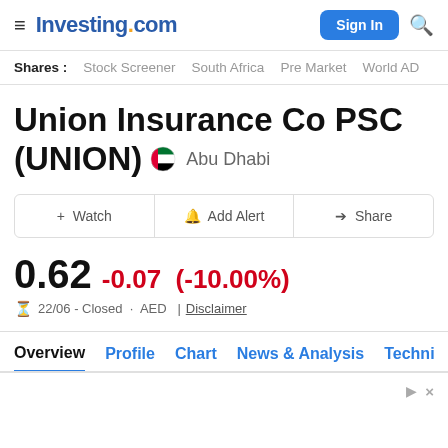Investing.com
Shares : Stock Screener  South Africa  Pre Market  World AD
Union Insurance Co PSC (UNION)  Abu Dhabi
+ Watch   Add Alert   Share
0.62  -0.07  (-10.00%)
22/06 · Closed · AED  |  Disclaimer
Overview  Profile  Chart  News & Analysis  Techni